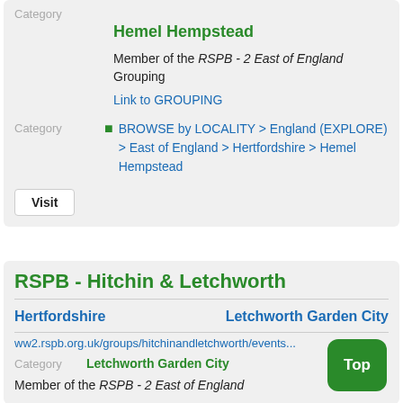Category
Hemel Hempstead
Member of the RSPB - 2 East of England Grouping
Link to GROUPING
Category
BROWSE by LOCALITY > England (EXPLORE) > East of England > Hertfordshire > Hemel Hempstead
Visit
RSPB - Hitchin & Letchworth
Hertfordshire
Letchworth Garden City
ww2.rspb.org.uk/groups/hitchinandletchworth/events...
Category
Letchworth Garden City
Top
Member of the RSPB - 2 East of England